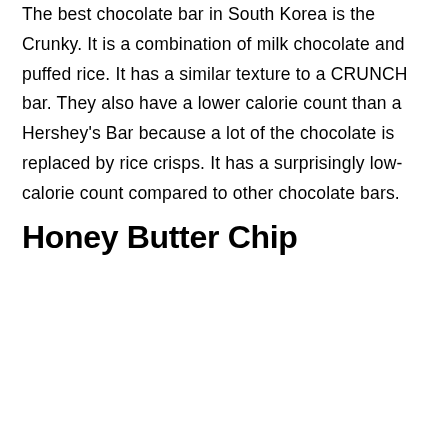The best chocolate bar in South Korea is the Crunky. It is a combination of milk chocolate and puffed rice. It has a similar texture to a CRUNCH bar. They also have a lower calorie count than a Hershey's Bar because a lot of the chocolate is replaced by rice crisps. It has a surprisingly low-calorie count compared to other chocolate bars.
Honey Butter Chip